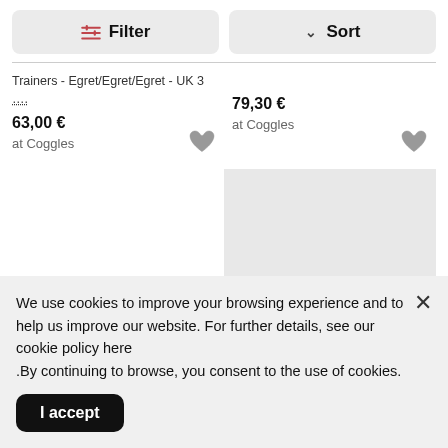Filter
Sort
Trainers - Egret/Egret/Egret - UK 3 ....
63,00 €
at Coggles
79,30 €
at Coggles
[Figure (other): Gray placeholder image rectangle on right side]
We use cookies to improve your browsing experience and to help us improve our website. For further details, see our cookie policy here .By continuing to browse, you consent to the use of cookies.
I accept